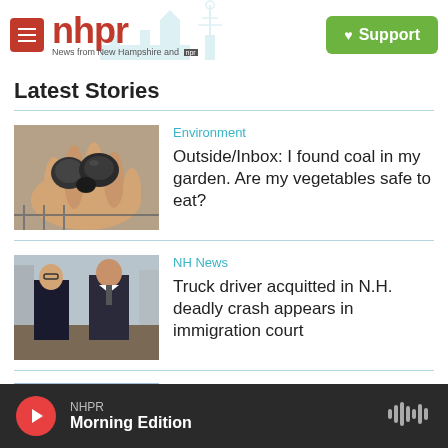nhpr – News from New Hampshire and NPR | Support
Latest Stories
[Figure (photo): A hand holding pieces of coal]
Environment
Outside/Inbox: I found coal in my garden. Are my vegetables safe to eat?
[Figure (photo): Two men in suits in a courtroom]
NH News
Truck driver acquitted in N.H. deadly crash appears in immigration court
[Figure (photo): Partial view of a scene with people outdoors]
NH News
NHPR Morning Edition